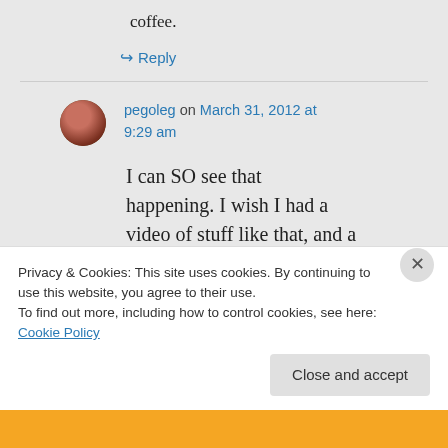coffee.
↪ Reply
pegoleg on March 31, 2012 at 9:29 am
I can SO see that happening. I wish I had a video of stuff like that, and a soundtrack, so my life would
Privacy & Cookies: This site uses cookies. By continuing to use this website, you agree to their use.
To find out more, including how to control cookies, see here: Cookie Policy
Close and accept